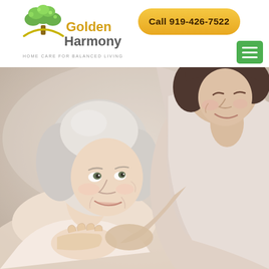[Figure (logo): Golden Harmony Home Care for Balanced Living logo with tree icon]
Call 919-426-7522
[Figure (other): Hamburger menu button (three horizontal lines) on green background]
[Figure (photo): Elderly woman with white hair smiling up at a younger caregiver who is leaning over her with a warm smile, both in soft light tones]